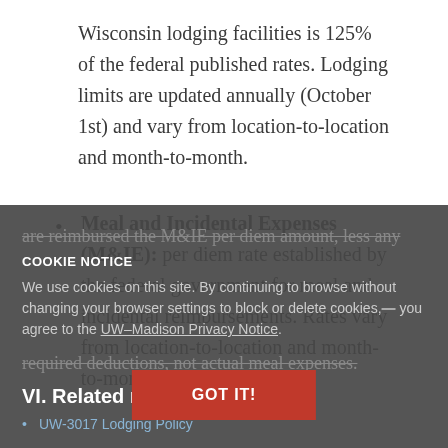Wisconsin lodging facilities is 125% of the federal published rates. Lodging limits are updated annually (October 1st) and vary from location-to-location and month-to-month.
Meal and Incidental Expenses (M&IE): per diem rate established by the federal government for meal and incidental reimbursements. Rates vary from location-to-location and month-to-month. Travelers are reimbursed the M&IE per diem amount, less any required deductions, not actual meal expenses.
COOKIE NOTICE
We use cookies on this site. By continuing to browse without changing your browser settings to block or delete cookies, you agree to the UW–Madison Privacy Notice.
VI. Related references
UW-3017 Lodging Policy